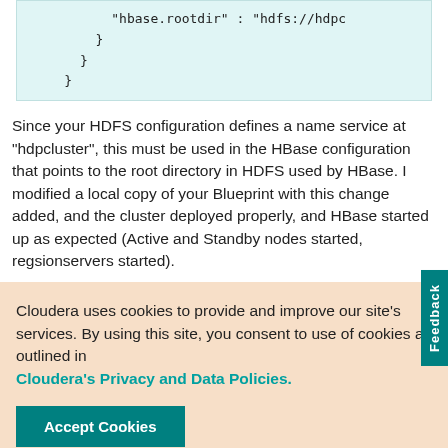"hbase.rootdir" : "hdfs://hdpc
    }
  }
}
Since your HDFS configuration defines a name service at "hdpcluster", this must be used in the HBase configuration that points to the root directory in HDFS used by HBase. I modified a local copy of your Blueprint with this change added, and the cluster deployed properly, and HBase started up as expected (Active and Standby nodes started, regsionservers started).
Cloudera uses cookies to provide and improve our site's services. By using this site, you consent to use of cookies as outlined in Cloudera's Privacy and Data Policies.